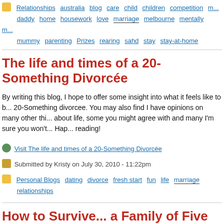Relationships  australia  blog  care  child  children  competition  daddy  home  housework  love  marriage  melbourne  mentally  mummy  parenting  Prizes  rearing  sahd  stay  stay-at-home
The life and times of a 20-Something Divorcée
By writing this blog, I hope to offer some insight into what it feels like to be a 20-Something divorcee. You may also find I have opinions on many other things about life, some you might agree with and many I'm sure you won't... Happy reading!
Visit The life and times of a 20-Something Divorcée
Submitted by Kristy on July 30, 2010 - 11:22pm
Personal Blogs  dating  divorce  fresh start  fun  life  marriage  relationships
How to Survive... a Family of Five
When You're Under 30! I must admit, there was a sense of relief to the first the birth of Little Mango 3 (I've decided to use these somewhat cute, a little disrespectful, yet ultimately safe ways of describing everybody - there's a